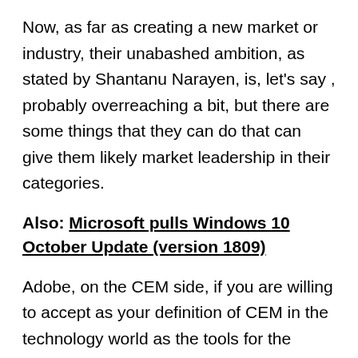Now, as far as creating a new market or industry, their unabashed ambition, as stated by Shantanu Narayen, is, let's say , probably overreaching a bit, but there are some things that they can do that can give them likely market leadership in their categories.
Also: Microsoft pulls Windows 10 October Update (version 1809)
Adobe, on the CEM side, if you are willing to accept as your definition of CEM in the technology world as the tools for the creation of monetizable experiences, you are arguably already the market leader already. As I said, there is no way to enable "the" customer experience with technology, but